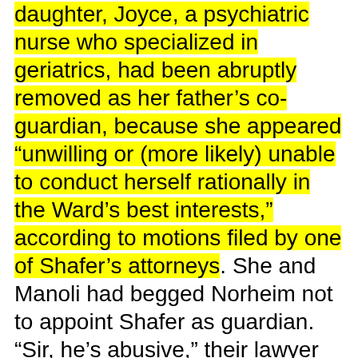daughter, Joyce, a psychiatric nurse who specialized in geriatrics, had been abruptly removed as her father's co-guardian, because she appeared “unwilling or (more likely) unable to conduct herself rationally in the Ward’s best interests,” according to motions filed by one of Shafer’s attorneys. She and Manoli had begged Norheim not to appoint Shafer as guardian. “Sir, he’s abusive,” their lawyer said in court. “He’s as good as we got, and I trust him completely,” Norheim responded. Joyce Passer was so confused by the situation that, she said, “I thought I was crazy.” Then she received a call from a blocked number. It was Terry Williams, who did not reveal her identity. She had put